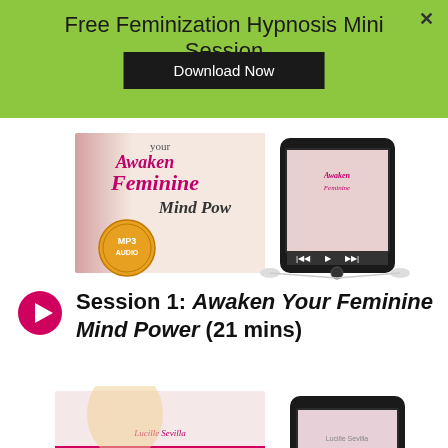Free Feminization Hypnosis Mini Session
Download Now
[Figure (photo): Awaken Your Feminine Mind Power MP3 audio product image with smartphone]
Session 1: Awaken Your Feminine Mind Power (21 mins)
[Figure (photo): Flawless Feminine Image MP3 audio product image featuring a blonde woman with smartphone]